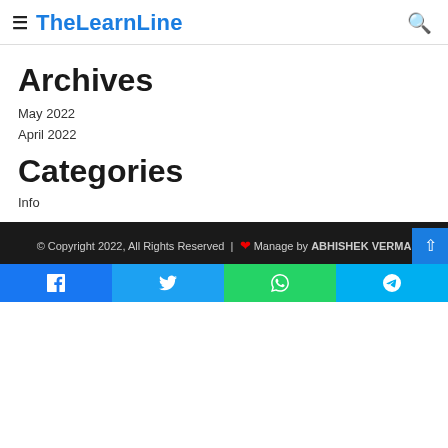≡ TheLearnLine 🔍
Archives
May 2022
April 2022
Categories
Info
© Copyright 2022, All Rights Reserved | ❤ Manage by ABHISHEK VERMA